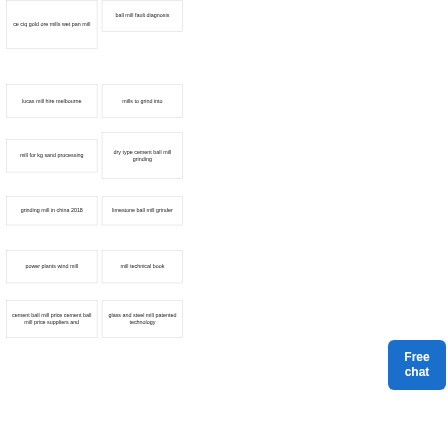ce ciq gold ore mills wet pan mill
ball mill fault diagnosis
lucas mill hire melbourne
mills to grind into
mill for kg sand processing
dry type cement ball mill grinding
grinding mill in china 2018
limestone ball mill grinder
power plants wind mill
mill technical book
cement ball mill price cement ball mill price suppliers and
glass and steel mill patented technology